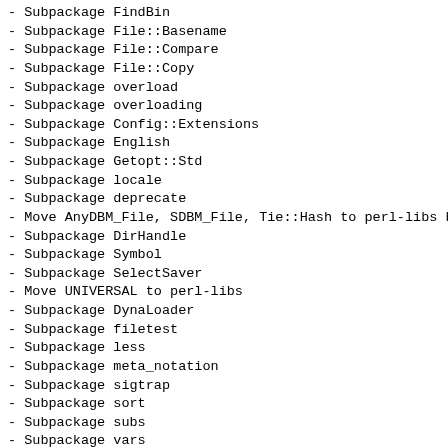- Subpackage FindBin
- Subpackage File::Basename
- Subpackage File::Compare
- Subpackage File::Copy
- Subpackage overload
- Subpackage overloading
- Subpackage Config::Extensions
- Subpackage English
- Subpackage Getopt::Std
- Subpackage locale
- Subpackage deprecate
- Move AnyDBM_File, SDBM_File, Tie::Hash to perl-libs b
- Subpackage DirHandle
- Subpackage Symbol
- Subpackage SelectSaver
- Move UNIVERSAL to perl-libs
- Subpackage DynaLoader
- Subpackage filetest
- Subpackage less
- Subpackage meta_notation
- Subpackage sigtrap
- Subpackage sort
- Subpackage subs
- Subpackage vars
- Subpackage vmsish
- Subpackage Pod-Functions
- Move feature to perl-libs
- Move debugger files into perl-debugger
- Move perlxs* POD to perl-ExtUtils-ParseXS
- Move ExtUtils/typemap to perl-devel
- Move ExtUtils/XS*... (ch